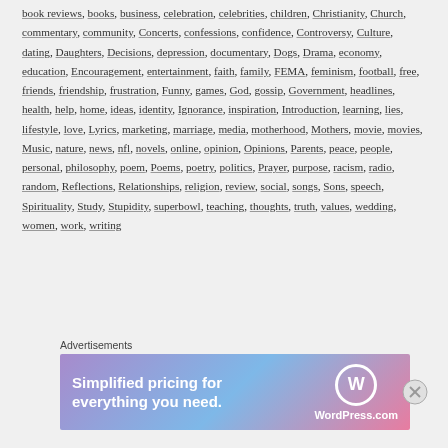book reviews, books, business, celebration, celebrities, children, Christianity, Church, commentary, community, Concerts, confessions, confidence, Controversy, Culture, dating, Daughters, Decisions, depression, documentary, Dogs, Drama, economy, education, Encouragement, entertainment, faith, family, FEMA, feminism, football, free, friends, friendship, frustration, Funny, games, God, gossip, Government, headlines, health, help, home, ideas, identity, Ignorance, inspiration, Introduction, learning, lies, lifestyle, love, Lyrics, marketing, marriage, media, motherhood, Mothers, movie, movies, Music, nature, news, nfl, novels, online, opinion, Opinions, Parents, peace, people, personal, philosophy, poem, Poems, poetry, politics, Prayer, purpose, racism, radio, random, Reflections, Relationships, religion, review, social, songs, Sons, speech, Spirituality, Study, Stupidity, superbowl, teaching, thoughts, truth, values, wedding, women, work, writing
[Figure (other): WordPress.com advertisement banner: 'Simplified pricing for everything you need.' with WordPress logo]